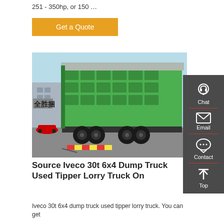251 - 350hp, or 150 …
Get a Quote
[Figure (photo): Green Iveco 6x4 dump truck / tipper lorry truck viewed from rear-side angle in a yard, with Chinese characters on a wall in the background. A dark sidebar with chat, email, contact, and top icons overlays the right side of the image.]
Source Iveco 30t 6x4 Dump Truck Used Tipper Lorry Truck On
Iveco 30t 6x4 dump truck used tipper lorry truck. You can get